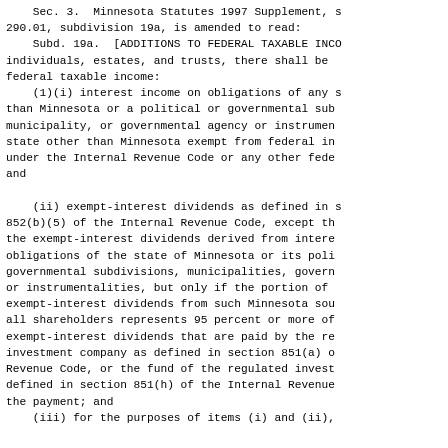Sec. 3.  Minnesota Statutes 1997 Supplement, section 290.01, subdivision 19a, is amended to read:
Subd. 19a.  [ADDITIONS TO FEDERAL TAXABLE INCOME.]  For individuals, estates, and trusts, there shall be added to federal taxable income:
(1)(i) interest income on obligations of any state other than Minnesota or a political or governmental subdivision, municipality, or governmental agency or instrumentality of a state other than Minnesota exempt from federal income tax under the Internal Revenue Code or any other federal law; and
(ii) exempt-interest dividends as defined in section 852(b)(5) of the Internal Revenue Code, except that portion of the exempt-interest dividends derived from interest on obligations of the state of Minnesota or its political or governmental subdivisions, municipalities, governmental agencies or instrumentalities, but only if the portion of exempt-interest dividends from such Minnesota sources paid to all shareholders represents 95 percent or more of the total exempt-interest dividends that are paid by the regulated investment company as defined in section 851(a) of the Internal Revenue Code, or the fund of the regulated investment company defined in section 851(h) of the Internal Revenue Code, that makes the payment; and
(iii) for the purposes of items (i) and (ii),